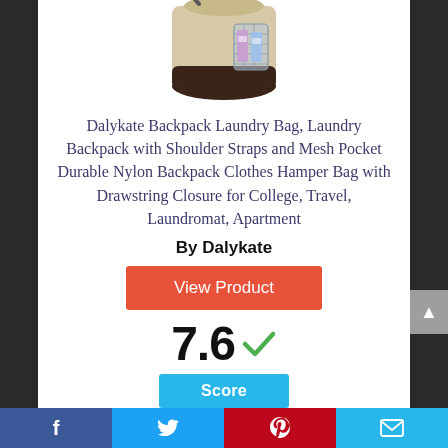[Figure (photo): Product photo of a beige/tan backpack laundry bag with dark brown base, shoulder straps, and mesh pocket containing laundry detergent bottles.]
Dalykate Backpack Laundry Bag, Laundry Backpack with Shoulder Straps and Mesh Pocket Durable Nylon Backpack Clothes Hamper Bag with Drawstring Closure for College, Travel, Laundromat, Apartment
By Dalykate
View Product
7.6
Score